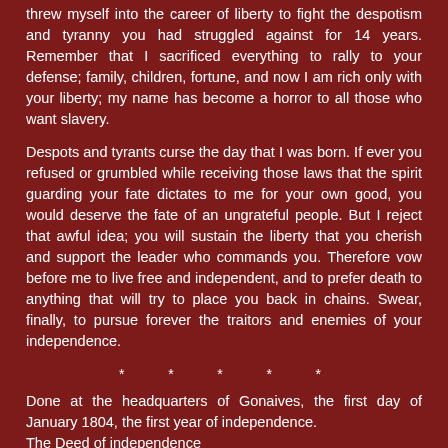threw myself into the career of liberty to fight the despotism and tyranny you had struggled against for 14 years. Remember that I sacrificed everything to rally to your defense; family, children, fortune, and now I am rich only with your liberty; my name has become a horror to all those who want slavery.
Despots and tyrants curse the day that I was born. If ever you refused or grumbled while receiving those laws that the spirit guarding your fate dictates to me for your own good, you would deserve the fate of an ungrateful people. But I reject that awful idea; you will sustain the liberty that you cherish and support the leader who commands you. Therefore vow before me to live free and independent, and to prefer death to anything that will try to place you back in chains. Swear, finally, to pursue forever the traitors and enemies of your independence.
* * * * *
Done at the headquarters of Gonaives, the first day of January 1804, the first year of independence.
The Deed of independence
Native Army
Today, January 1st 1804, the general in chief of the native army, accompanied by the generals of the army, assembled in order to take measures that will insure the good of the country;